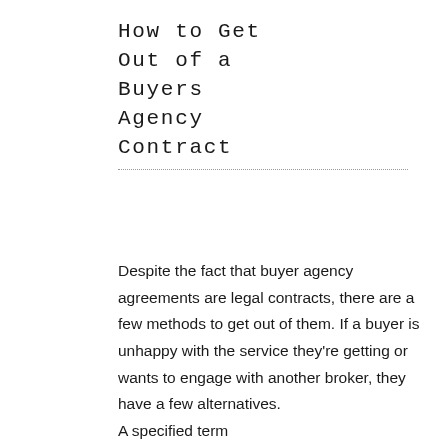How to Get Out of a Buyers Agency Contract
Despite the fact that buyer agency agreements are legal contracts, there are a few methods to get out of them. If a buyer is unhappy with the service they're getting or wants to engage with another broker, they have a few alternatives.
A specified term